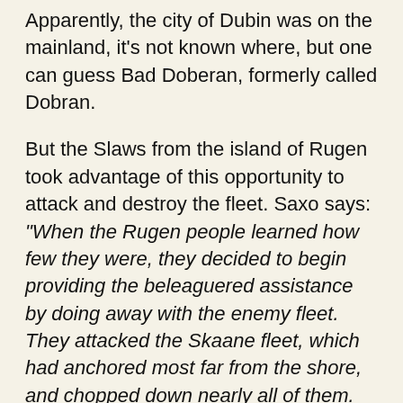Apparently, the city of Dubin was on the mainland, it's not known where, but one can guess Bad Doberan, formerly called Dobran.
But the Slaws from the island of Rugen took advantage of this opportunity to attack and destroy the fleet. Saxo says: "When the Rugen people learned how few they were, they decided to begin providing the beleaguered assistance by doing away with the enemy fleet. They attacked the Skaane fleet, which had anchored most far from the shore, and chopped down nearly all of them. The Jutlanders, who guarded the ships and were not very numerous, looked on